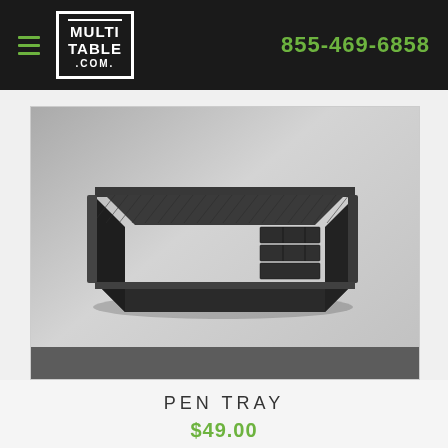MULTI TABLE .COM | 855-469-6858
[Figure (photo): A black pen tray/desk drawer organizer shown at an angle on a gray background. The tray has a ribbed/textured surface and small compartments at one end.]
PEN TRAY
$49.00